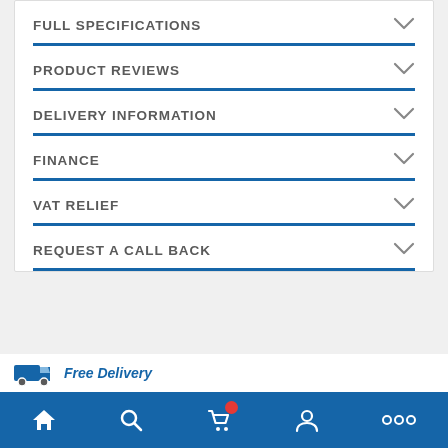FULL SPECIFICATIONS
PRODUCT REVIEWS
DELIVERY INFORMATION
FINANCE
VAT RELIEF
REQUEST A CALL BACK
Free Delivery
Navigation bar with home, search, cart, account, more icons